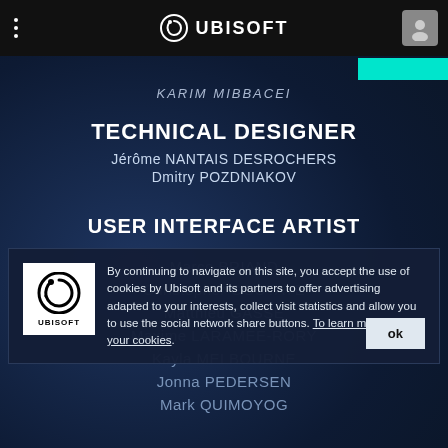UBISOFT
Karim MIBBACEI
TECHNICAL DESIGNER
Jérôme NANTAIS DESROCHERS
Dmitry POZDNIAKOV
USER INTERFACE ARTIST
Marco BRIAND
Christopher GOUTAYE
Matthieu GASSE
Maxime LARAMEE-RORY
Kayla MELBOURNE
Jonna PEDERSEN
Mark QUIMOYOG
By continuing to navigate on this site, you accept the use of cookies by Ubisoft and its partners to offer advertising adapted to your interests, collect visit statistics and allow you to use the social network share buttons. To learn more and set your cookies.